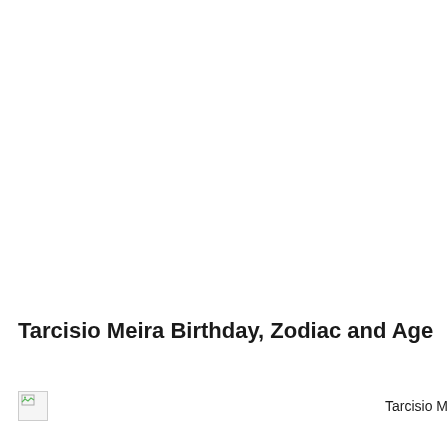Tarcisio Meira Birthday, Zodiac and Age
[Figure (photo): Broken image placeholder with caption 'Tarcisio M']